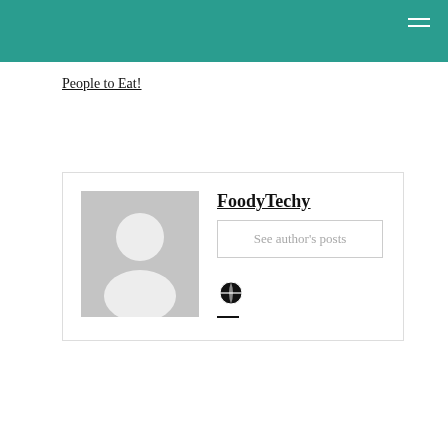People to Eat!
[Figure (illustration): Author card with grey avatar placeholder, author name FoodyTechy, See author's posts button, and a globe icon with underline]
FoodyTechy
See author's posts
[Figure (infographic): Row of 5 social media icon circles: Facebook, Twitter, Pinterest, LinkedIn, Email]
Leave a Reply
Your email address will not be published. Required fields are marked *